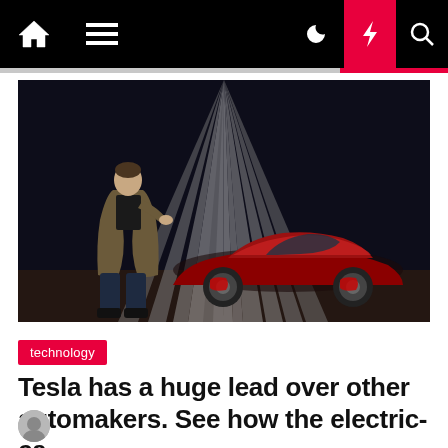Navigation bar with home, menu, dark mode, lightning/breaking news, and search icons
[Figure (photo): A man in a brown jacket and dark jeans stands on a dark stage with dramatic light beams, next to a red Tesla Roadster sports car.]
technology
Tesla has a huge lead over other automakers. See how the electric-ca…